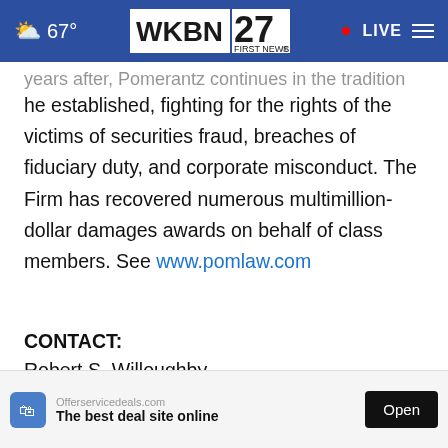67° WKBN 27 FIRST NEWS • LIVE
years after, Pomerantz continues in the tradition he established, fighting for the rights of the victims of securities fraud, breaches of fiduciary duty, and corporate misconduct. The Firm has recovered numerous multimillion-dollar damages awards on behalf of class members. See www.pomlaw.com
CONTACT:
Robert S. Willoughby
Pomerantz LLP
rswilloughby@pomlaw.com